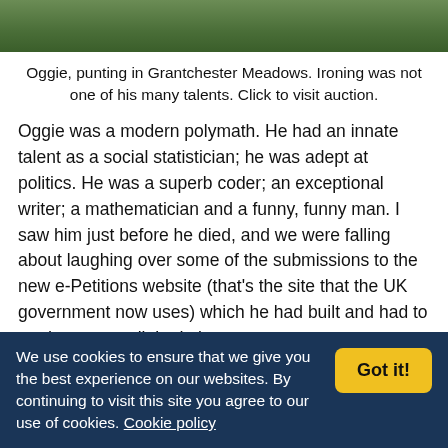[Figure (photo): Partial photo of a person outdoors near greenery, cropped at top of page]
Oggie, punting in Grantchester Meadows. Ironing was not one of his many talents. Click to visit auction.
Oggie was a modern polymath. He had an innate talent as a social statistician; he was adept at politics. He was a superb coder; an exceptional writer; a mathematician and a funny, funny man. I saw him just before he died, and we were falling about laughing over some of the submissions to the new e-Petitions website (that's the site that the UK government now uses) which he had built and had to moderate; we clinked glasses over
We use cookies to ensure that we give you the best experience on our websites. By continuing to visit this site you agree to our use of cookies. Cookie policy